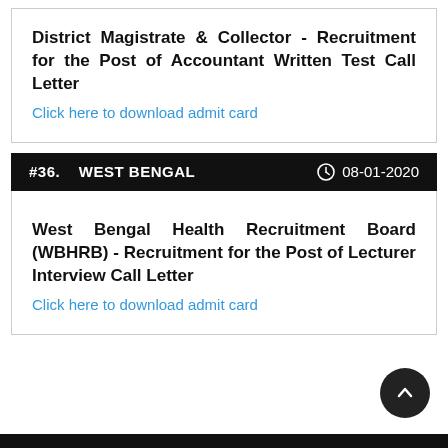District Magistrate & Collector - Recruitment for the Post of Accountant Written Test Call Letter
Click here to download admit card
#36.   WEST BENGAL   08-01-2020
West Bengal Health Recruitment Board (WBHRB) - Recruitment for the Post of Lecturer Interview Call Letter
Click here to download admit card